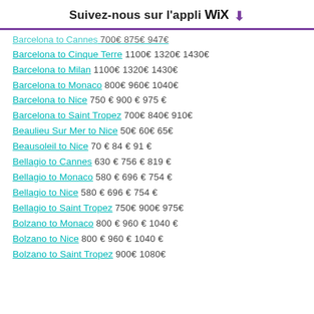Suivez-nous sur l'appli WIX ↓
Barcelona to Cannes  700€ 875€ 947€
Barcelona to Cinque Terre  1100€ 1320€ 1430€
Barcelona to Milan  1100€ 1320€ 1430€
Barcelona to Monaco  800€ 960€ 1040€
Barcelona to Nice  750€ 900€ 975€
Barcelona to Saint Tropez  700€ 840€ 910€
Beaulieu Sur Mer to Nice  50€ 60€ 65€
Beausoleil to Nice  70€ 84€ 91€
Bellagio to Cannes  630€ 756€ 819€
Bellagio to Monaco  580€ 696€ 754€
Bellagio to Nice  580€ 696€ 754€
Bellagio to Saint Tropez  750€ 900€ 975€
Bolzano to Monaco  800€ 960€ 1040€
Bolzano to Nice  800€ 960€ 1040€
Bolzano to Saint Tropez  900€ 1080€